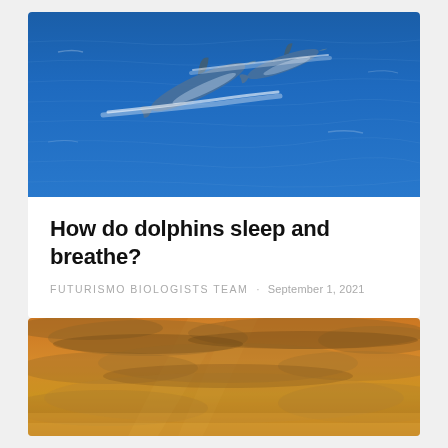[Figure (photo): Aerial view of two dolphins swimming through deep blue ocean water, leaving white wake trails on the surface]
How do dolphins sleep and breathe?
FUTURISMO BIOLOGISTS TEAM · September 1, 2021
[Figure (photo): Golden-toned sunset sky with dramatic clouds, warm amber and orange hues with soft light rays]